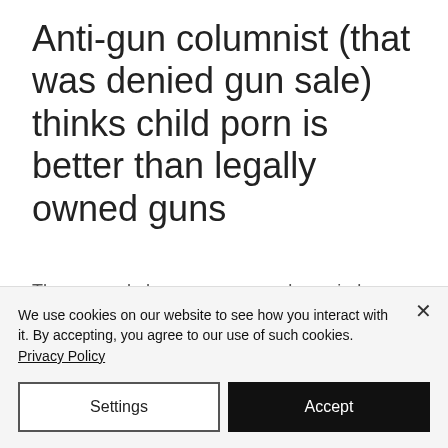Anti-gun columnist (that was denied gun sale) thinks child porn is better than legally owned guns
These people have very messed up minds. What the hell kind of comparison is this?!?!? Only in the mind of a warped individual can you minimize child porn but make legally owned guns worse.
We use cookies on our website to see how you interact with it. By accepting, you agree to our use of such cookies. Privacy Policy